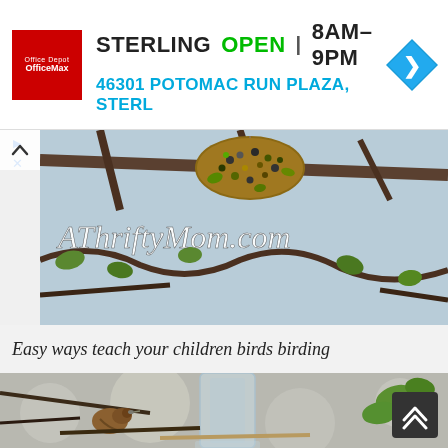[Figure (screenshot): Advertisement banner for Office Depot/OfficeMax Sterling location. Shows red logo on left, text 'STERLING OPEN 8AM-9PM' and '46301 POTOMAC RUN PLAZA, STERL' with a blue navigation arrow icon on right.]
[Figure (photo): Website header image for AThriftyMom.com showing a bird feeder hanging from a tree branch with seeds, with cursive white text overlay reading 'AThriftyMom.com'. A caret/up arrow is visible at the top left.]
Easy ways teach your children birds birding
[Figure (photo): Close-up photo of a small brown bird near a clear plastic bird feeder hanging from a tree branch, with green leaves visible.]